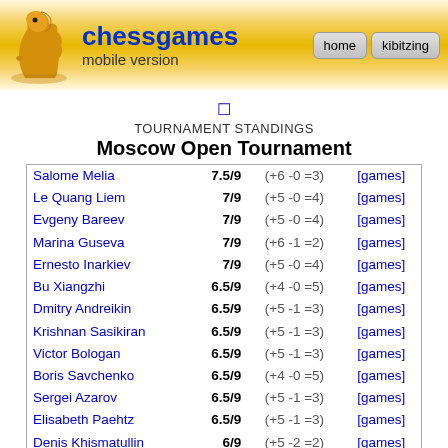chessgames mobile version | home | kibitzing
TOURNAMENT STANDINGS
Moscow Open Tournament
| Player | Score | Record |  |
| --- | --- | --- | --- |
| Salome Melia | 7.5/9 | (+6 -0 =3) | [games] |
| Le Quang Liem | 7/9 | (+5 -0 =4) | [games] |
| Evgeny Bareev | 7/9 | (+5 -0 =4) | [games] |
| Marina Guseva | 7/9 | (+6 -1 =2) | [games] |
| Ernesto Inarkiev | 7/9 | (+5 -0 =4) | [games] |
| Bu Xiangzhi | 6.5/9 | (+4 -0 =5) | [games] |
| Dmitry Andreikin | 6.5/9 | (+5 -1 =3) | [games] |
| Krishnan Sasikiran | 6.5/9 | (+5 -1 =3) | [games] |
| Victor Bologan | 6.5/9 | (+5 -1 =3) | [games] |
| Boris Savchenko | 6.5/9 | (+4 -0 =5) | [games] |
| Sergei Azarov | 6.5/9 | (+5 -1 =3) | [games] |
| Elisabeth Paehtz | 6.5/9 | (+5 -1 =3) | [games] |
| Denis Khismatullin | 6/9 | (+5 -2 =2) | [games] |